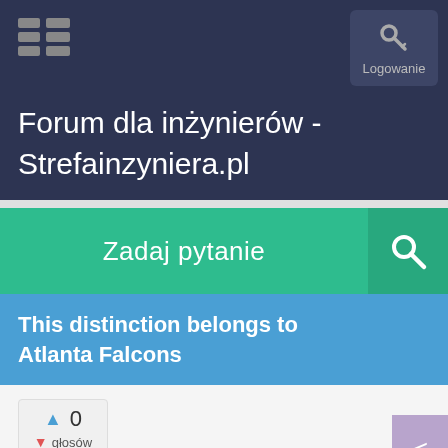Forum dla inżynierów - Strefainzyniera.pl
Logowanie
Zadaj pytanie
This distinction belongs to Atlanta Falcons
▲ 0 ▼ głosów